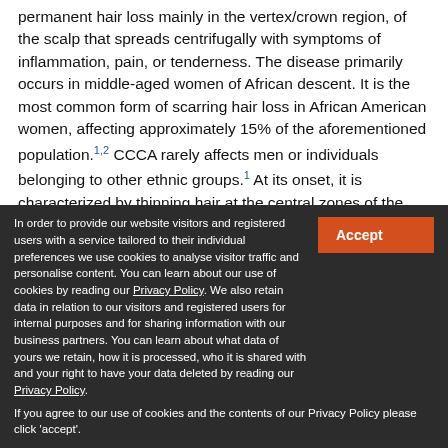permanent hair loss mainly in the vertex/crown region, of the scalp that spreads centrifugally with symptoms of inflammation, pain, or tenderness. The disease primarily occurs in middle-aged women of African descent. It is the most common form of scarring hair loss in African American women, affecting approximately 15% of the aforementioned population.1,2 CCCA rarely affects men or individuals belonging to other ethnic groups.1 At its onset, it is characterized by thinning hair at the central zones of the vertex, eventually resulting in permanent scarring alopecia that expands centrifugally to the entire scalp.2 Histologically, CCCA is characterized by premature desquamation of fibro...
In order to provide our website visitors and registered users with a service tailored to their individual preferences we use cookies to analyse visitor traffic and personalise content. You can learn about our use of cookies by reading our Privacy Policy. We also retain data in relation to our visitors and registered users for internal purposes and for sharing information with our business partners. You can learn about what data of yours we retain, how it is processed, who it is shared with and your right to have your data deleted by reading our Privacy Policy. If you agree to our use of cookies and the contents of our Privacy Policy please click 'accept'.